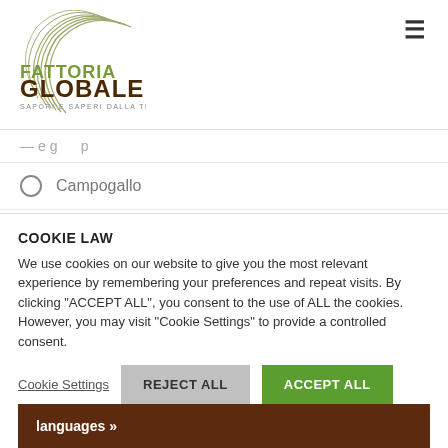[Figure (logo): Fattoria Globale logo with circular line art and tagline 'SAPORI E SAPERI DALLA TERRA']
Campogallo
Cantina Le Mire
COOKIE LAW
We use cookies on our website to give you the most relevant experience by remembering your preferences and repeat visits. By clicking "ACCEPT ALL", you consent to the use of ALL the cookies. However, you may visit "Cookie Settings" to provide a controlled consent.
Cookie Settings | REJECT ALL | ACCEPT ALL
languages »